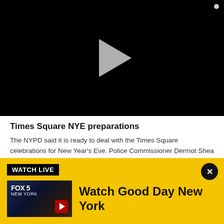[Figure (screenshot): Video player with black background and gray play button triangle in the center]
Times Square NYE preparations
The NYPD said it is ready to deal with the Times Square celebrations for New Year's Eve. Police Commissioner Dermot Shea said all 15,000 attendees must be vaccinated and wear a mask.
[Figure (screenshot): Watch Live banner in yellow with FOX 5 New York thumbnail and text 'Watch Good Day New York']